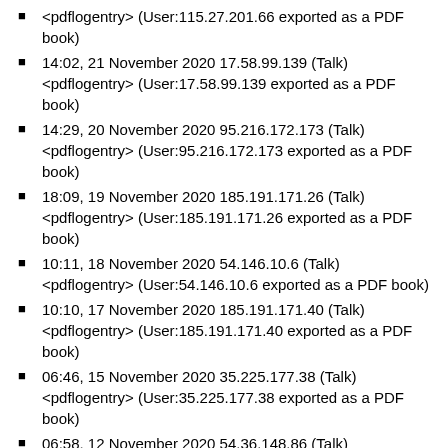<pdflogentry> (User:115.27.201.66 exported as a PDF book)
14:02, 21 November 2020 17.58.99.139 (Talk) <pdflogentry> (User:17.58.99.139 exported as a PDF book)
14:29, 20 November 2020 95.216.172.173 (Talk) <pdflogentry> (User:95.216.172.173 exported as a PDF book)
18:09, 19 November 2020 185.191.171.26 (Talk) <pdflogentry> (User:185.191.171.26 exported as a PDF book)
10:11, 18 November 2020 54.146.10.6 (Talk) <pdflogentry> (User:54.146.10.6 exported as a PDF book)
10:10, 17 November 2020 185.191.171.40 (Talk) <pdflogentry> (User:185.191.171.40 exported as a PDF book)
06:46, 15 November 2020 35.225.177.38 (Talk) <pdflogentry> (User:35.225.177.38 exported as a PDF book)
06:58, 12 November 2020 54.36.148.86 (Talk) <pdflogentry> (User:54.36.148.86 exported as a PDF book)
15:26, 10 November 2020 85.232.233.60 (Talk) <pdflogentry> (User:85.232.233.60 exported as a